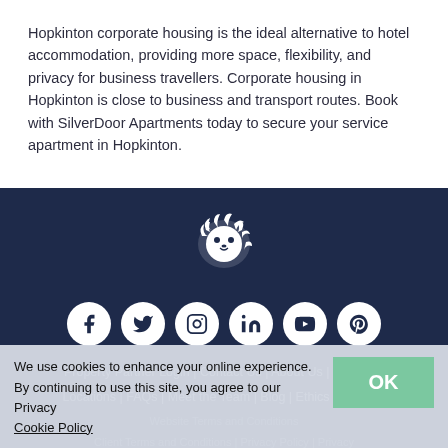Hopkinton corporate housing is the ideal alternative to hotel accommodation, providing more space, flexibility, and privacy for business travellers. Corporate housing in Hopkinton is close to business and transport routes. Book with SilverDoor Apartments today to secure your service apartment in Hopkinton.
[Figure (logo): White lion head logo on dark navy background]
[Figure (infographic): Row of 6 social media icon circles (Facebook, Twitter, Instagram, LinkedIn, YouTube, Pinterest) in white on navy background]
Property Partner Login | Contact Us | About Us | Careers | Locations | FAQs | Meet the Team | Blog | Ethics | GSAIR |
Website Terms and Conditions
Client Terms and Conditions | Privacy Policy | Privacy Cookie Policy
Quality Policy | Environmental Policy | Security Statement |
We use cookies to enhance your online experience. By continuing to use this site, you agree to our Privacy Cookie Policy